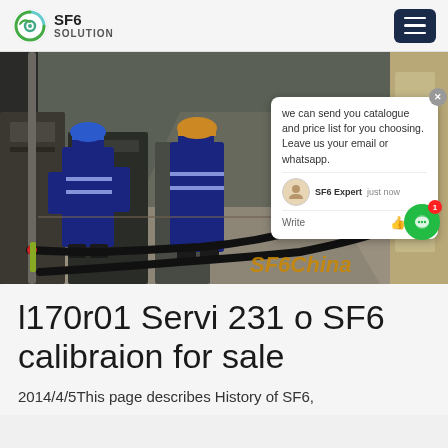SF6 SOLUTION
[Figure (photo): Two workers in blue coveralls and hard hats standing in an industrial corridor with electrical equipment. A large black hose/cable runs along the floor. A chat popup overlay is visible on the right side of the image with text: 'we can send you catalogue and price list for you choosing. Leave us your email or whatsapp.' SF6 Expert, just now. SF6China watermark visible at bottom right.]
l170r01 Servi 231 o SF6 calibraion for sale
2014/4/5This page describes History of SF6,